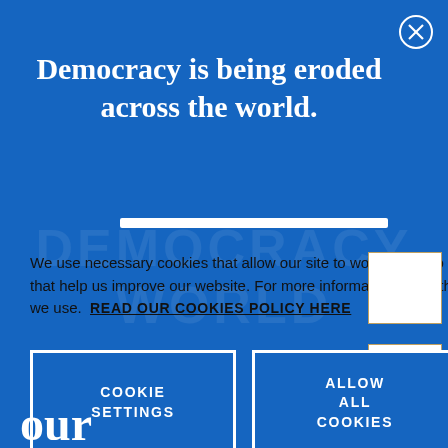Democracy is being eroded across the world.
We use necessary cookies that allow our site to work. We also set optional cookies that help us improve our website. For more information about the types of cookies we use. READ OUR COOKIES POLICY HERE
COOKIE SETTINGS
ALLOW ALL COOKIES
data.
our